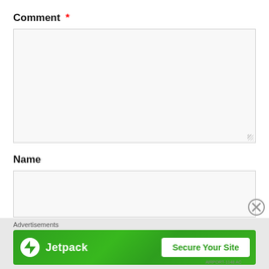Comment *
[Figure (screenshot): Empty comment textarea input box with light gray background and resize handle in bottom-right corner]
Name
[Figure (screenshot): Empty name text input box with light gray background]
Advertisements
[Figure (screenshot): Jetpack advertisement banner with green background, Jetpack logo on left, and 'Secure Your Site' white button on right]